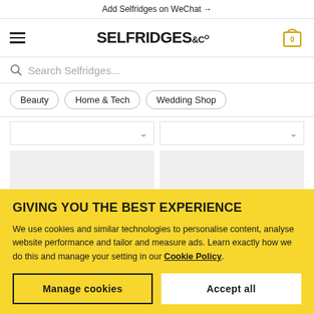Add Selfridges on WeChat →
[Figure (logo): Selfridges & Co logo with hamburger menu and shopping bag icon showing 0 items]
Search Selfridges...
Beauty
Home & Tech
Wedding Shop
[Figure (screenshot): Product grid showing two product card tops with dropdown chevrons and two gray placeholder product image cards below]
GIVING YOU THE BEST EXPERIENCE
We use cookies and similar technologies to personalise content, analyse website performance and tailor and measure ads. Learn exactly how we do this and manage your setting in our Cookie Policy.
Manage cookies
Accept all